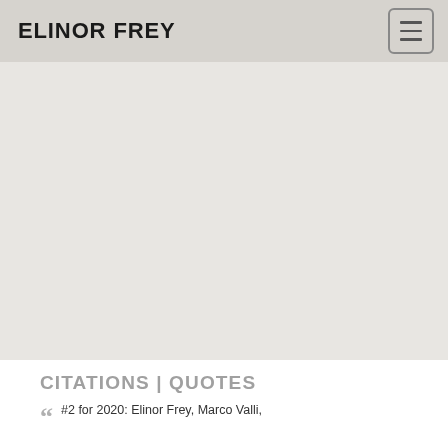ELINOR FREY
CITATIONS | QUOTES
““ #2 for 2020: Elinor Frey, Marco Valli,